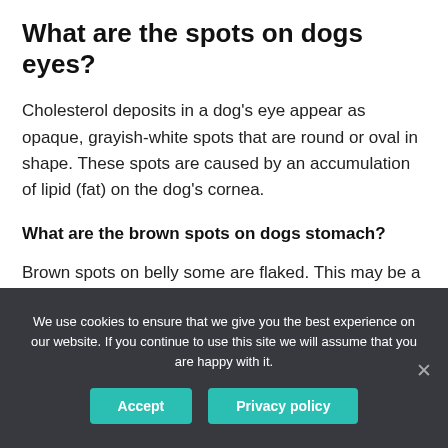What are the spots on dogs eyes?
Cholesterol deposits in a dog's eye appear as opaque, grayish-white spots that are round or oval in shape. These spots are caused by an accumulation of lipid (fat) on the dog's cornea.
What are the brown spots on dogs stomach?
Brown spots on belly some are flaked. This may be a juvenile form of skin infection (called impetigo).Staphylococcus bacteria are usually present and thought to be a main cause of puppy impetigo. In the
We use cookies to ensure that we give you the best experience on our website. If you continue to use this site we will assume that you are happy with it.